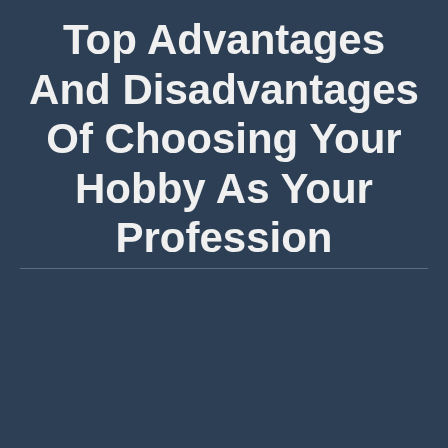Top Advantages And Disadvantages Of Choosing Your Hobby As Your Profession